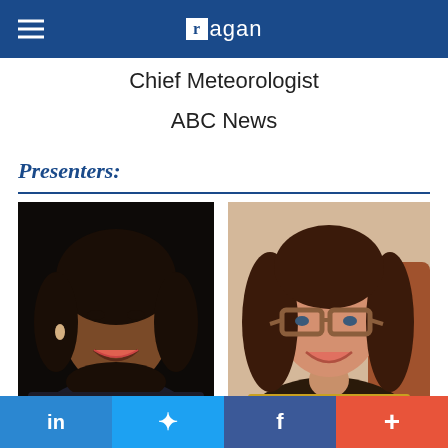ragan
Chief Meteorologist
ABC News
Presenters:
[Figure (photo): Professional headshot of a woman with dark hair, smiling, wearing pearl necklace and dark jacket against a dark background]
[Figure (photo): Photo of a woman with long dark hair, wearing large brown-framed glasses and a leopard print top, smiling against a light background]
in  Twitter  f  +